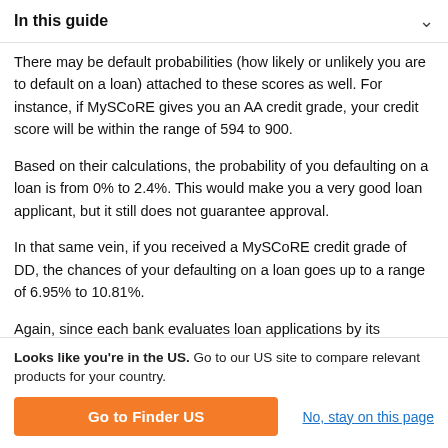In this guide
There may be default probabilities (how likely or unlikely you are to default on a loan) attached to these scores as well. For instance, if MySCoRE gives you an AA credit grade, your credit score will be within the range of 594 to 900.
Based on their calculations, the probability of you defaulting on a loan is from 0% to 2.4%. This would make you a very good loan applicant, but it still does not guarantee approval.
In that same vein, if you received a MySCoRE credit grade of DD, the chances of your defaulting on a loan goes up to a range of 6.95% to 10.81%.
Again, since each bank evaluates loan applications by its
Looks like you're in the US. Go to our US site to compare relevant products for your country.
Go to Finder US
No, stay on this page